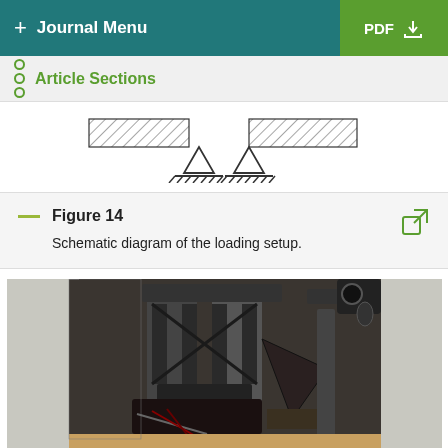+ Journal Menu | PDF ↓
Article Sections
[Figure (schematic): Schematic diagram of a loading setup showing two triangular support structures under a hatched rectangular beam, partially visible.]
Figure 14
Schematic diagram of the loading setup.
[Figure (photo): Photograph of a structural loading test setup showing metal frame, cables, and testing equipment including a jack and support structures.]